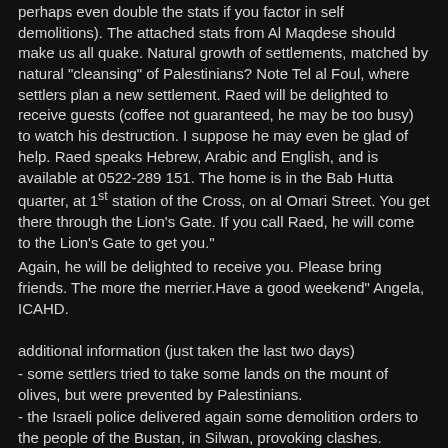perhaps even double the stats if you factor in self demolitions). The attached stats from Al Maqdese should make us all quake. Natural growth of settlements, matched by natural "cleansing" of Palestinians? Note Tel al Foul, where settlers plan a new settlement. Raed will be delighted to receive guests (coffee not guaranteed, he may be too busy) to watch his destruction. I suppose he may even be glad of help. Raed speaks Hebrew, Arabic and English, and is available at 0522-289 151. The home is in the Bab Hutta quarter, at 1st station of the Cross, on al Omari Street. You get there through the Lion's Gate. If you call Raed, he will come to the Lion's Gate to get you."
Again, he will be delighted to receive you. Please bring friends. The more the merrier.Have a good weekend" Angela, ICAHD.
additional information (just taken the last two days)
- some settlers tried to take some lands on the mount of olives, but were prevented by Palestinians.
- the Israeli police delivered again some demolition orders to the people of the Bustan, in Silwan, provoking clashes.